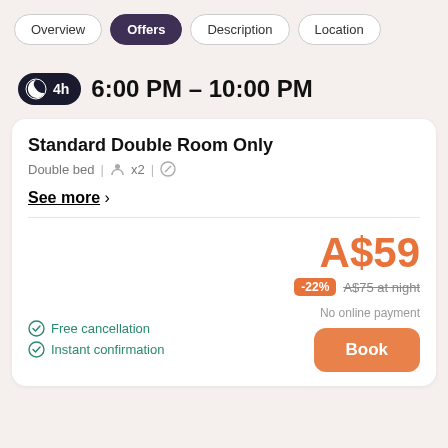Overview | Offers | Description | Location
4h  6:00 PM – 10:00 PM
Standard Double Room Only
Double bed | x2 |
See more >
A$59
-22%  A$75 at night
Free cancellation
Instant confirmation
No online payment
Book